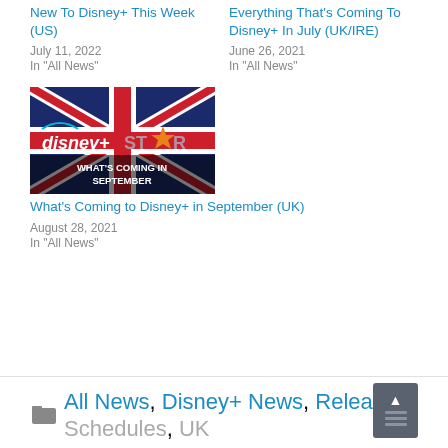New To Disney+ This Week (US)
July 11, 2022
In "All News"
Everything That's Coming To Disney+ In July (UK/IRE)
June 26, 2021
In "All News"
[Figure (photo): Disney+ and Star logo with UK flag background and text 'WHAT'S COMING IN SEPTEMBER']
What's Coming to Disney+ in September (UK)
August 28, 2021
In "All News"
All News, Disney+ News, Release Schedules, UK